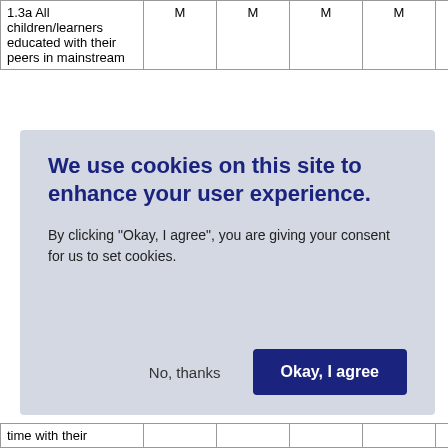|  | M | M | M | M | M |
| --- | --- | --- | --- | --- | --- |
| 1.3a All children/learners educated with their peers in mainstream | M | M | M | M | M |
| time with their |  |  |  |  |  |
We use cookies on this site to enhance your user experience.

By clicking "Okay, I agree", you are giving your consent for us to set cookies.

[No, thanks] [Okay, I agree]